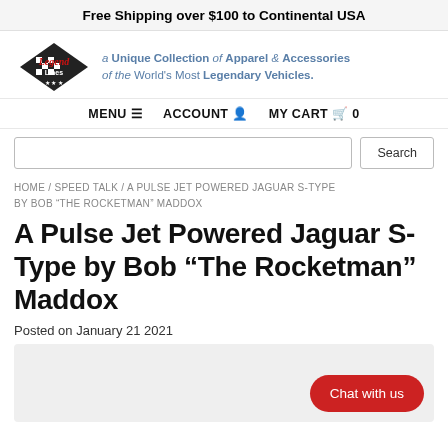Free Shipping over $100 to Continental USA
[Figure (logo): Legend Lines logo — checkered flag emblem with 'Legend' in red script and 'Lines' below]
a Unique Collection of Apparel & Accessories of the World's Most Legendary Vehicles.
MENU  ACCOUNT  MY CART  0
Search
HOME / SPEED TALK / A PULSE JET POWERED JAGUAR S-TYPE BY BOB "THE ROCKETMAN" MADDOX
A Pulse Jet Powered Jaguar S-Type by Bob “The Rocketman” Maddox
Posted on January 21 2021
[Figure (other): Gray placeholder image area with red 'Chat with us' button in bottom right]